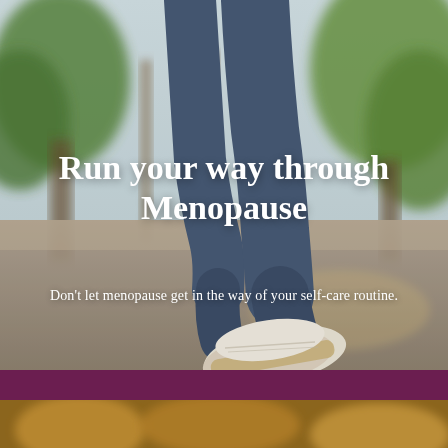[Figure (photo): Close-up photo of a person running outdoors in blue jeans and white sneakers, with trees and a sunlit path in the background.]
Run your way through Menopause
Don't let menopause get in the way of your self-care routine.
[Figure (photo): Bottom strip photo showing blurred autumn foliage and ground, continuation of outdoor running scene.]